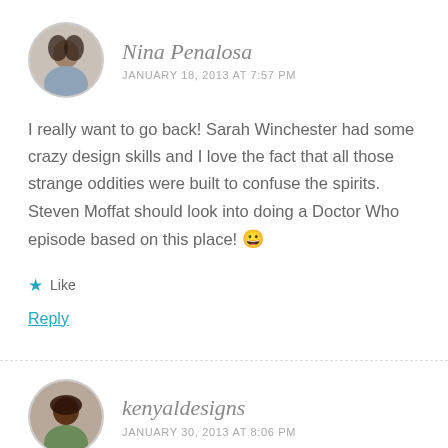Nina Penalosa
JANUARY 18, 2013 AT 7:57 PM
I really want to go back! Sarah Winchester had some crazy design skills and I love the fact that all those strange oddities were built to confuse the spirits. Steven Moffat should look into doing a Doctor Who episode based on this place! 😀
★ Like
Reply
kenyaldesigns
JANUARY 30, 2013 AT 8:06 PM